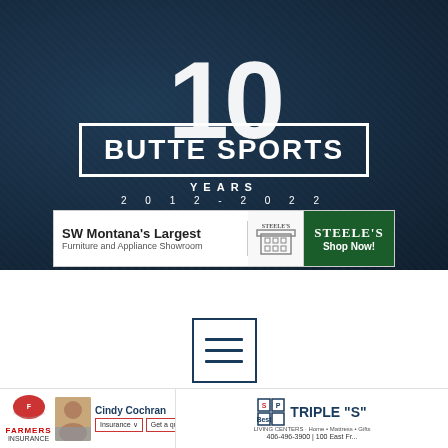[Figure (logo): Butte Sports 10 Years 2012-2022 logo on dark blue textured background with '10' large behind a white-bordered banner reading 'Butte Sports', with 'Years' and '2012-2022' below]
[Figure (logo): Steele's Furniture and Appliance advertisement banner: 'SW Montana's Largest Furniture and Appliance Showroom' with Steele's building logo and green 'Shop Now!' button]
[Figure (screenshot): Hamburger menu icon (three horizontal lines) inside a dark blue bordered square, on white background]
[Figure (logo): Bottom advertisement bar: Farmers Insurance logo on left with Cindy Cochran photo and Insurance/Get a quote buttons; Triple S Living Centers ad on right with phone 406-496-3900 and address 100 East Fr...]